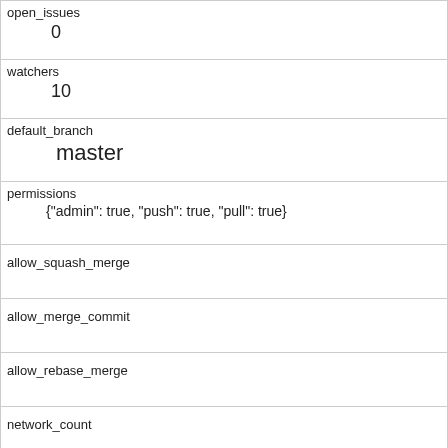| open_issues | 0 |
| watchers | 10 |
| default_branch | master |
| permissions | {"admin": true, "push": true, "pull": true} |
| allow_squash_merge |  |
| allow_merge_commit |  |
| allow_rebase_merge |  |
| network_count |  |
| subscribers_count |  |
| organization |  |